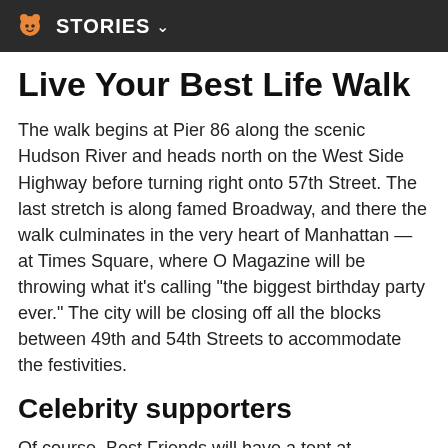STORIES
Live Your Best Life Walk
The walk begins at Pier 86 along the scenic Hudson River and heads north on the West Side Highway before turning right onto 57th Street. The last stretch is along famed Broadway, and there the walk culminates in the very heart of Manhattan — at Times Square, where O Magazine will be throwing what it's calling "the biggest birthday party ever." The city will be closing off all the blocks between 49th and 54th Streets to accommodate the festivities.
Celebrity supporters
Of course, Best Friends will have a tent at